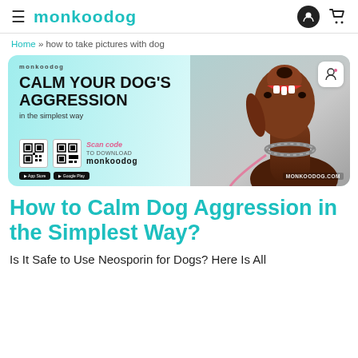monkoodog
Home » how to take pictures with dog
[Figure (illustration): Monkoodog app advertisement banner showing a Doberman dog with open mouth and chain collar, with text 'CALM YOUR DOG'S AGGRESSION in the simplest way', QR codes, app store badges, and 'Scan code TO DOWNLOAD MONKOODOG'. Brand URL: MONKOODOG.COM]
How to Calm Dog Aggression in the Simplest Way?
Is It Safe to Use Neosporin for Dogs? Here Is All